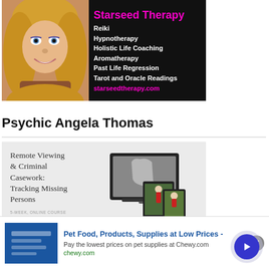[Figure (advertisement): Starseed Therapy advertisement banner with photo of blonde woman on left and dark background with service list on right. Title in magenta: Starseed Therapy. Services listed in white: Reiki, Hypnotherapy, Holistic Life Coaching, Aromatherapy, Past Life Regression, Tarot and Oracle Readings. URL in magenta: starseedtherapy.com]
Psychic Angela Thomas
[Figure (advertisement): Light gray advertisement for a 5-week online course: Remote Viewing & Criminal Casework: Tracking Missing Persons. Text on left, device mockup images on right showing crime scene imagery.]
[Figure (advertisement): Bottom banner ad: Pet Food, Products, Supplies at Low Prices - chewy.com. Blue image box on left, text and URL on right, close button (x) and arrow navigation circle.]